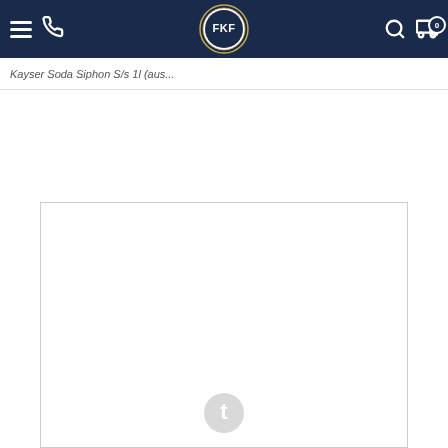FKF logo navigation bar with hamburger menu, phone icon, FKF circular logo, search icon, and cart icon with badge 0
Kayser Soda Siphon S/s 1l (aus...
[Figure (other): Empty white product image area with a circular loading/placeholder icon at the bottom center]